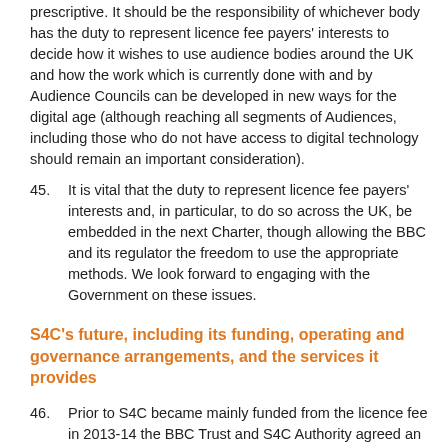prescriptive. It should be the responsibility of whichever body has the duty to represent licence fee payers' interests to decide how it wishes to use audience bodies around the UK and how the work which is currently done with and by Audience Councils can be developed in new ways for the digital age (although reaching all segments of Audiences, including those who do not have access to digital technology should remain an important consideration).
45. It is vital that the duty to represent licence fee payers' interests and, in particular, to do so across the UK, be embedded in the next Charter, though allowing the BBC and its regulator the freedom to use the appropriate methods. We look forward to engaging with the Government on these issues.
S4C's future, including its funding, operating and governance arrangements, and the services it provides
46. Prior to S4C became mainly funded from the licence fee in 2013-14 the BBC Trust and S4C Authority agreed an Operating Agreement which included commitments to S4C's funding from the licence fee up to the end of the BBC licence fee settlement, in addition to the